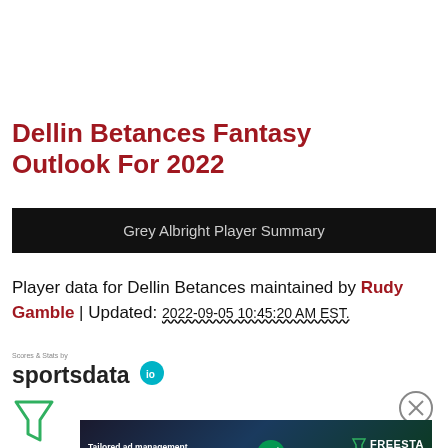Dellin Betances Fantasy Outlook For 2022
Grey Albright Player Summary
Player data for Dellin Betances maintained by Rudy Gamble | Updated: 2022-09-05 10:45:20 AM EST.
[Figure (logo): Scores & Stats by sportsdata.io logo]
[Figure (illustration): Filter/funnel icon]
[Figure (illustration): Close (X) circle icon]
[Figure (screenshot): Advertisement banner: Tailored ad management solutions for every publisher — FREESTA with LEARN MORE button]